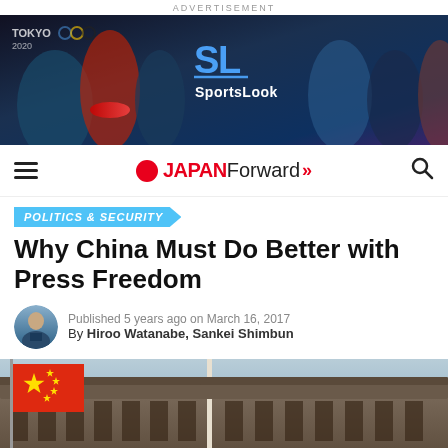ADVERTISEMENT
[Figure (photo): SportsLook advertisement banner with Tokyo 2020 Olympics athletes collage and SportsLook logo]
[Figure (logo): Japan Forward website navigation bar with hamburger menu, Japan Forward logo with red circle and double chevron arrows, and search icon]
POLITICS & SECURITY
Why China Must Do Better with Press Freedom
Published 5 years ago on March 16, 2017
By Hiroo Watanabe, Sankei Shimbun
[Figure (photo): Chinese flag with red background and yellow stars in front of traditional Chinese architecture building]